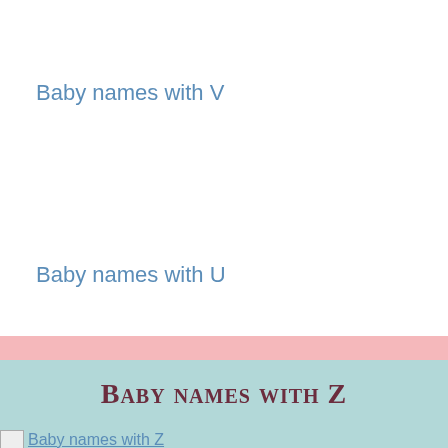Baby names with V
Baby names with U
Baby names with Z
Baby names with Z